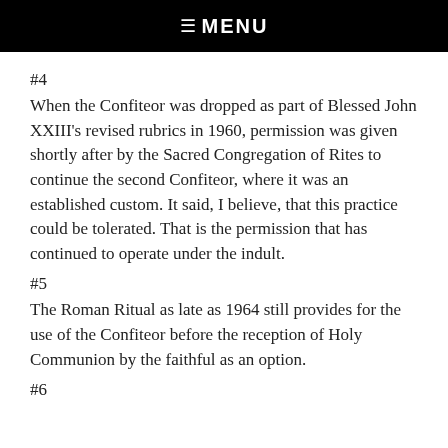☰  MENU
#4
When the Confiteor was dropped as part of Blessed John XXIII's revised rubrics in 1960, permission was given shortly after by the Sacred Congregation of Rites to continue the second Confiteor, where it was an established custom. It said, I believe, that this practice could be tolerated. That is the permission that has continued to operate under the indult.
#5
The Roman Ritual as late as 1964 still provides for the use of the Confiteor before the reception of Holy Communion by the faithful as an option.
#6